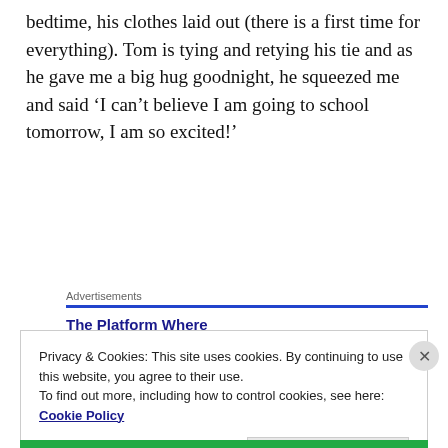bedtime, his clothes laid out (there is a first time for everything). Tom is tying and retying his tie and as he gave me a big hug goodnight, he squeezed me and said ‘I can’t believe I am going to school tomorrow, I am so excited!’
Advertisements
The Platform Where
Privacy & Cookies: This site uses cookies. By continuing to use this website, you agree to their use.
To find out more, including how to control cookies, see here:
Cookie Policy
Close and accept